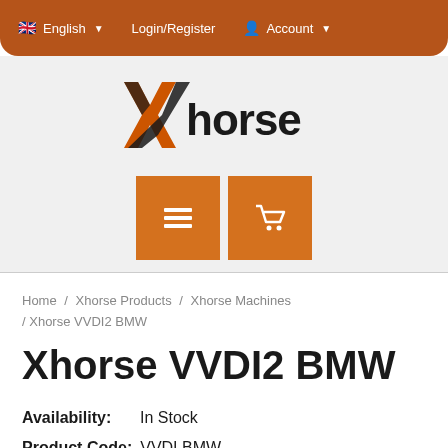English Login/Register Account
[Figure (logo): Xhorse logo with orange X graphic and bold black 'Xhorse' text]
[Figure (infographic): Two orange square icon buttons: a menu/hamburger icon and a shopping cart icon]
Home / Xhorse Products / Xhorse Machines / Xhorse VVDI2 BMW
Xhorse VVDI2 BMW
Availability: In Stock
Product Code: VVDI BMW
Kg: 1.60